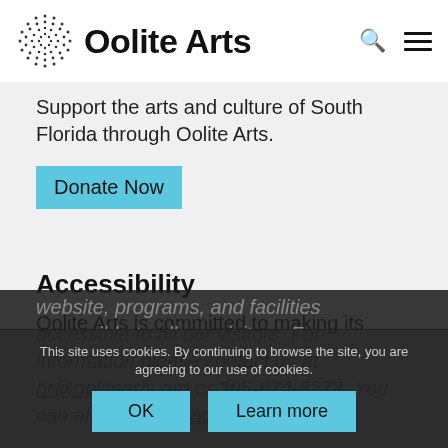[Figure (logo): Oolite Arts logo with dotted circular pattern and text 'Oolite Arts']
Support the arts and culture of South Florida through Oolite Arts.
Donate Now
Accessibility
Oolite Arts is committed to making its website, programs, and facilities accessible to all our visitors. For information please contact us at hr@oolitearts.org or 305-674-8278. You can also visit our accessibility page
This site uses cookies. By continuing to browse the site, you are agreeing to our use of cookies.
OK
Learn more